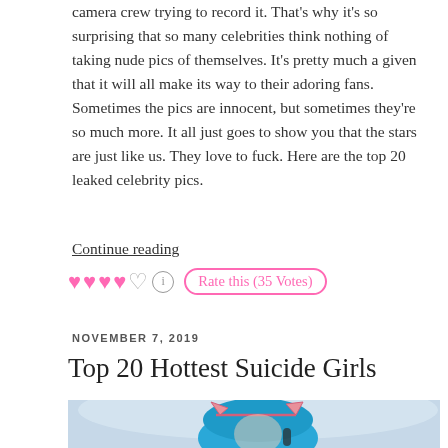camera crew trying to record it. That's why it's so surprising that so many celebrities think nothing of taking nude pics of themselves. It's pretty much a given that it will all make its way to their adoring fans. Sometimes the pics are innocent, but sometimes they're so much more. It all just goes to show you that the stars are just like us. They love to fuck. Here are the top 20 leaked celebrity pics.
Continue reading
💗💗💗💗🤍ℹ️ Rate this (35 Votes)
NOVEMBER 7, 2019
Top 20 Hottest Suicide Girls
[Figure (photo): Woman with blue hair wearing cat ear headband, taking a selfie, partially visible at bottom of page]